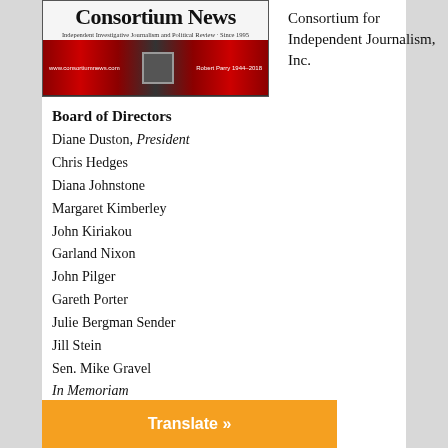[Figure (logo): Consortium News logo with masthead banner showing 'Consortium News - Independent Investigative Journalism and Political Review - Since 1995' with red and dark banner bar]
Consortium for Independent Journalism, Inc.
Board of Directors
Diane Duston, President
Chris Hedges
Diana Johnstone
Margaret Kimberley
John Kiriakou
Garland Nixon
John Pilger
Gareth Porter
Julie Bergman Sender
Jill Stein
Sen. Mike Gravel
In Memoriam
Editorial Dept.
Translate »